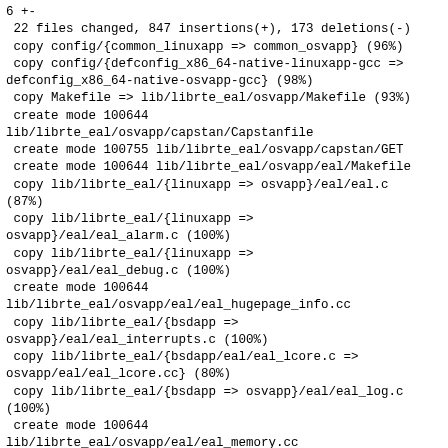6 +-
 22 files changed, 847 insertions(+), 173 deletions(-)
 copy config/{common_linuxapp => common_osvapp} (96%)
 copy config/{defconfig_x86_64-native-linuxapp-gcc =>
defconfig_x86_64-native-osvapp-gcc} (98%)
 copy Makefile => lib/librte_eal/osvapp/Makefile (93%)
 create mode 100644
lib/librte_eal/osvapp/capstan/Capstanfile
 create mode 100755 lib/librte_eal/osvapp/capstan/GET
 create mode 100644 lib/librte_eal/osvapp/eal/Makefile
 copy lib/librte_eal/{linuxapp => osvapp}/eal/eal.c
(87%)
 copy lib/librte_eal/{linuxapp =>
osvapp}/eal/eal_alarm.c (100%)
 copy lib/librte_eal/{linuxapp =>
osvapp}/eal/eal_debug.c (100%)
 create mode 100644
lib/librte_eal/osvapp/eal/eal_hugepage_info.cc
 copy lib/librte_eal/{bsdapp =>
osvapp}/eal/eal_interrupts.c (100%)
 copy lib/librte_eal/{bsdapp/eal/eal_lcore.c =>
osvapp/eal/eal_lcore.cc} (80%)
 copy lib/librte_eal/{bsdapp => osvapp}/eal/eal_log.c
(100%)
 create mode 100644
lib/librte_eal/osvapp/eal/eal_memory.cc
 create mode 100644
lib/librte_eal/osvapp/eal/eal_pci.cc
 copy lib/librte_eal/{linuxapp =>
osvapp}/eal/eal_thread.c (100%)
 create mode 100644